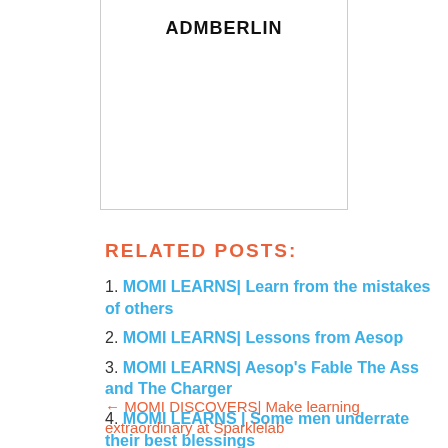ADMBERLIN
RELATED POSTS:
MOMI LEARNS| Learn from the mistakes of others
MOMI LEARNS| Lessons from Aesop
MOMI LEARNS| Aesop's Fable The Ass and The Charger
MOMI LEARNS | Some men underrate their best blessings
← MOMI DISCOVERS| Make learning extraordinary at Sparklelab